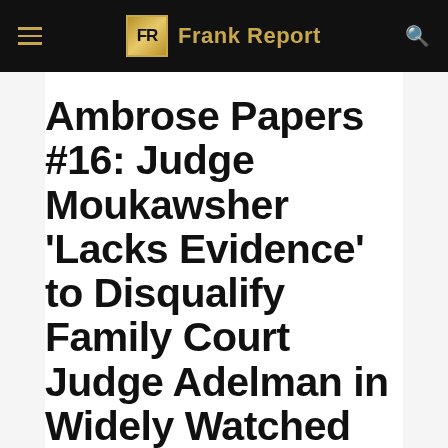FR Frank Report
Ambrose Papers #16: Judge Moukawsher 'Lacks Evidence' to Disqualify Family Court Judge Adelman in Widely Watched Connecticut Case